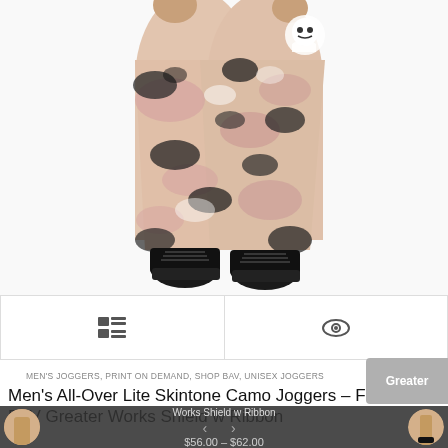[Figure (photo): Product photo of men's joggers in a pinkish-beige camouflage pattern with black splotches, worn by a male model. The image shows the lower body from waist down, with black boots visible at the bottom. A ghost/skull logo is visible at the upper right of the pants.]
[Figure (screenshot): Thumbnail navigation bar with two icons: a grid/list view icon on the left and an eye/visibility icon on the right, separated by a vertical divider.]
MEN'S JOGGERS, PRINT ON DEMAND, SHOP BAV, UNISEX JOGGERS
Men's All-Over Lite Skintone Camo Joggers – FFF1E2 BAV Greater Works Shield w Ribbon
$56.00 – $62.00